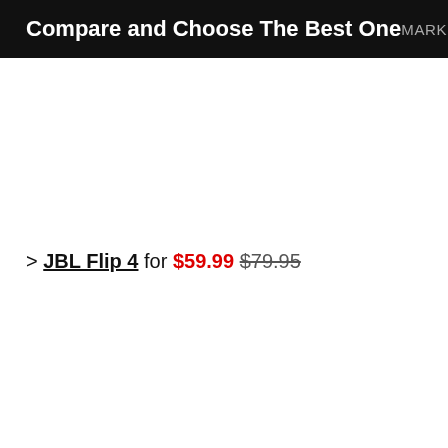Compare and Choose The Best One   MARKETING   BU
> JBL Flip 4 for $59.99 $79.95